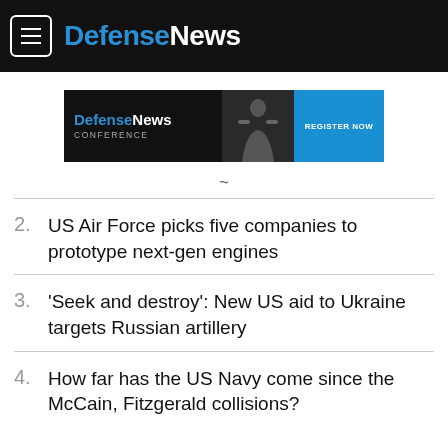DefenseNews
[Figure (other): DefenseNews Conference Register Now advertisement banner]
~
2. US Air Force picks five companies to prototype next-gen engines
3. 'Seek and destroy': New US aid to Ukraine targets Russian artillery
4. How far has the US Navy come since the McCain, Fitzgerald collisions?